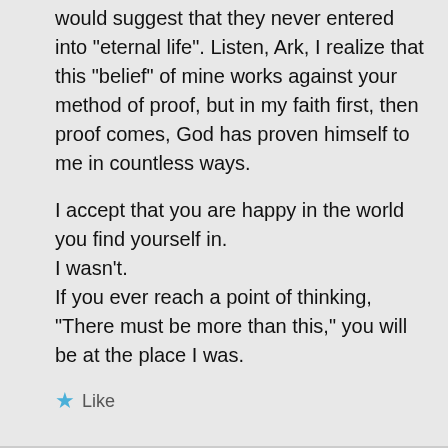would suggest that they never entered into “eternal life”. Listen, Ark, I realize that this “belief” of mine works against your method of proof, but in my faith first, then proof comes, God has proven himself to me in countless ways.
I accept that you are happy in the world you find yourself in.
I wasn’t.
If you ever reach a point of thinking, “There must be more than this,” you will be at the place I was.
★ Like